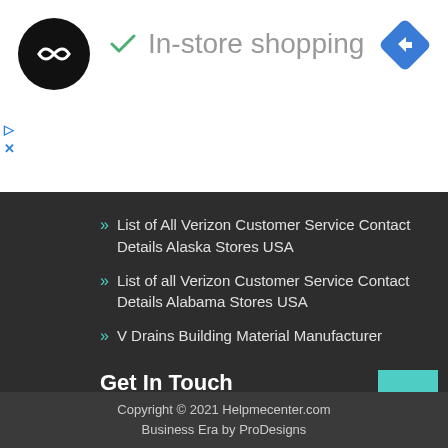[Figure (logo): Black circular logo with infinity-like symbol]
✓ In-store shopping
[Figure (logo): Blue diamond navigation arrow icon]
List of All Verizon Customer Service Contact Details Alaska Stores USA
List of all Verizon Customer Service Contact Details Alabama Stores USA
V Drains Building Material Manufacturer
Get In Touch
[Figure (other): Social media icons: Facebook, Instagram, share/link, YouTube, Pinterest]
Copyright © 2021 Helpmecenter.com
Business Era by ProDesigns